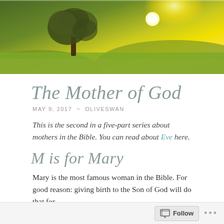[Figure (photo): A landscape photo showing a lone olive tree in a green field with a bright yellow sunrise or sunset in the background.]
The Mother of God
MAY 9, 2017 ~ OLIVESWAN
This is the second in a five-part series about mothers in the Bible. You can read about Eve here.
M is for Mary
Mary is the most famous woman in the Bible. For good reason: giving birth to the Son of God will do that for
Follow